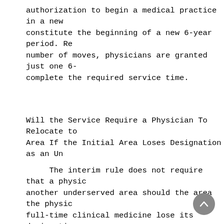authorization to begin a medical practice in a new constitute the beginning of a new 6-year period. Re number of moves, physicians are granted just one 6- complete the required service time.
Will the Service Require a Physician To Relocate to Area If the Initial Area Loses Designation as an Un
The interim rule does not require that a physic another underserved area should the area the physic full-time clinical medicine lose its designation as area. The purpose of such a designation is to foste physician presence in underserved areas. The Servic the desired results of the statutory amendment is f take up residency in these areas and become integra community. Once an area is no longer designated as however, the Service can no longer grant national i